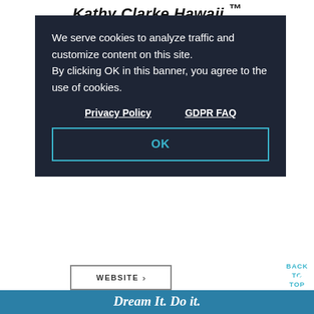Kathy Clarke Hawaii ™
We serve cookies to analyze traffic and customize content on this site.
By clicking OK in this banner, you agree to the use of cookies.
Privacy Policy   GDPR FAQ
OK
WEBSITE ›
BACK TO TOP
Dream It. Do it.
Make the most of your Hawaiian vacation with our FREE Official Visitors' Guide.
LET'S GO